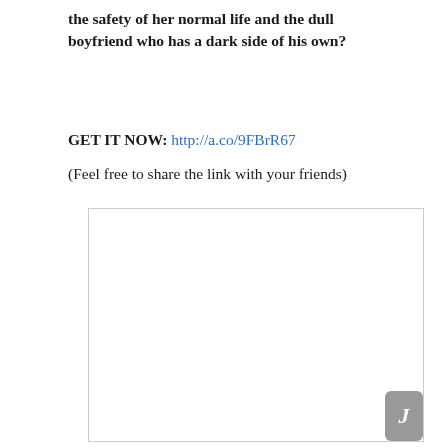the safety of her normal life and the dull boyfriend who has a dark side of his own?
GET IT NOW: http://a.co/9FBrR67
(Feel free to share the link with your friends)
[Figure (other): A blank white rectangle with a border, representing an embedded image or book cover placeholder. A scroll indicator with the letter J is visible in the bottom-right corner.]